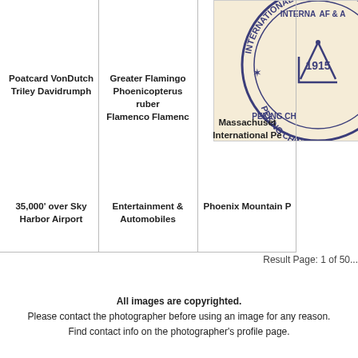[Figure (logo): Masonic lodge circular seal/emblem - International AF & AM, 1915, Peking China]
Poatcard VonDutch
Triley Davidrumph
Greater Flamingo
Phoenicopterus ruber
Flamenco Flamenc
Massachuset...
International Pe...
35,000' over Sky Harbor Airport
Entertainment &
Automobiles
Phoenix Mountain P...
Result Page: 1 of 50...
All images are copyrighted.
Please contact the photographer before using an image for any reason.
Find contact info on the photographer's profile page.